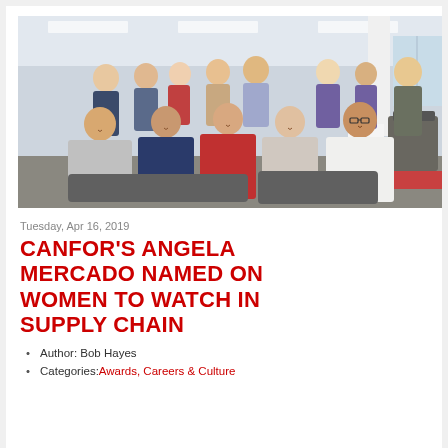[Figure (photo): Group photo of approximately 14 people (men and women) posing together in a modern office environment, arranged in two rows — some seated, some standing. Office furniture and carpet visible in background.]
Tuesday, Apr 16, 2019
CANFOR'S ANGELA MERCADO NAMED ON WOMEN TO WATCH IN SUPPLY CHAIN
Author: Bob Hayes
Categories: Awards, Careers & Culture